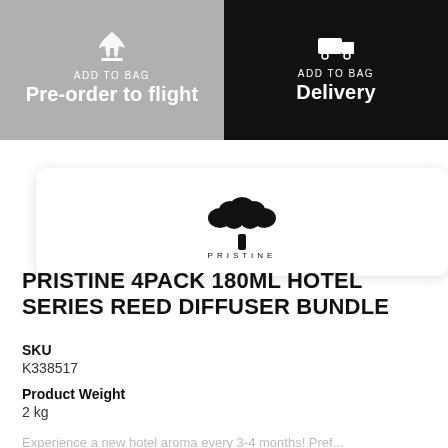[Figure (infographic): Two buttons side by side: left grey button with airplane icon and text ADD TO BAG / Pre-order to flight; right black button with delivery truck icon and text ADD TO BAG / Delivery]
[Figure (logo): Pristine brand logo: black tree illustration above the word PRISTINE in spaced capitals]
PRISTINE 4PACK 180ML HOTEL SERIES REED DIFFUSER BUNDLE
SKU
K338517
Product Weight
2 kg
Experience a new hotel aroma every 3-4 months! Pref...